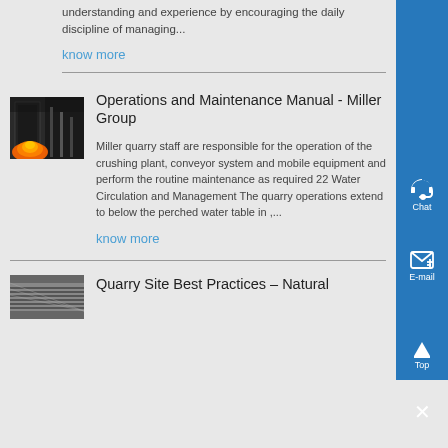understanding and experience by encouraging the daily discipline of managing...
know more
Operations and Maintenance Manual - Miller Group
Miller quarry staff are responsible for the operation of the crushing plant, conveyor system and mobile equipment and perform the routine maintenance as required 22 Water Circulation and Management The quarry operations extend to below the perched water table in ,...
know more
Quarry Site Best Practices – Natural